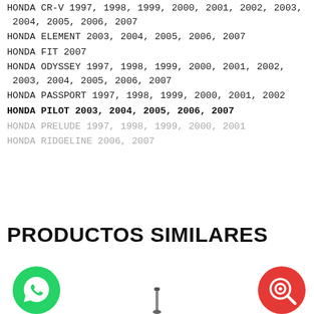HONDA CR-V 1997, 1998, 1999, 2000, 2001, 2002, 2003, 2004, 2005, 2006, 2007
HONDA ELEMENT 2003, 2004, 2005, 2006, 2007
HONDA FIT 2007
HONDA ODYSSEY 1997, 1998, 1999, 2000, 2001, 2002, 2003, 2004, 2005, 2006, 2007
HONDA PASSPORT 1997, 1998, 1999, 2000, 2001, 2002
HONDA PILOT 2003, 2004, 2005, 2006, 2007
HONDA PRELUDE 1997, 1998, 1999, 2000, 2001
HONDA RIDGELINE 2006, 2007
PRODUCTOS SIMILARES
[Figure (illustration): WhatsApp green circle icon on bottom left]
[Figure (illustration): Red target/search circle icon on bottom right]
[Figure (photo): Product image partially visible at bottom center]